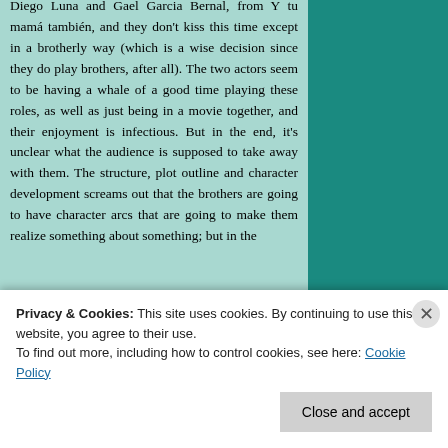Diego Luna and Gael Garcia Bernal, from Y tu mamá también, and they don't kiss this time except in a brotherly way (which is a wise decision since they do play brothers, after all). The two actors seem to be having a whale of a good time playing these roles, as well as just being in a movie together, and their enjoyment is infectious. But in the end, it's unclear what the audience is supposed to take away with them. The structure, plot outline and character development screams out that the brothers are going to have character arcs that are going to make them realize something about something; but in the
Privacy & Cookies: This site uses cookies. By continuing to use this website, you agree to their use. To find out more, including how to control cookies, see here: Cookie Policy
Close and accept